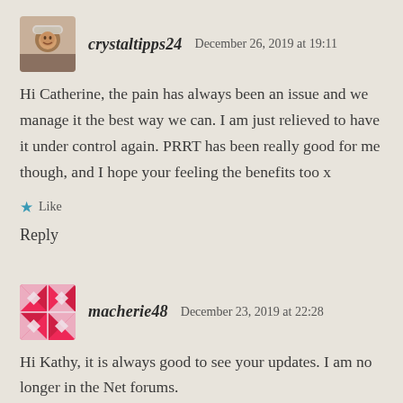crystaltipps24   December 26, 2019 at 19:11
Hi Catherine, the pain has always been an issue and we manage it the best way we can. I am just relieved to have it under control again. PRRT has been really good for me though, and I hope your feeling the benefits too x
★ Like
Reply
macherie48   December 23, 2019 at 22:28
Hi Kathy, it is always good to see your updates. I am no longer in the Net forums.